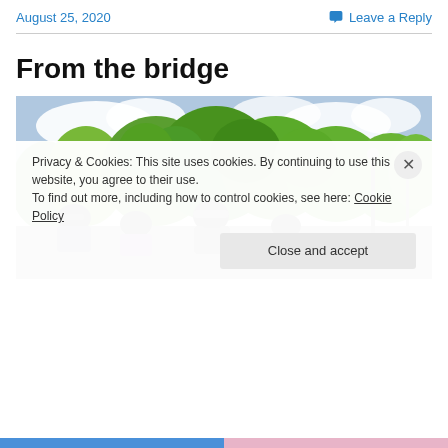August 25, 2020    Leave a Reply
From the bridge
[Figure (photo): Group of birdwatchers on a bridge looking through binoculars toward dense green trees, cloudy sky above]
Privacy & Cookies: This site uses cookies. By continuing to use this website, you agree to their use.
To find out more, including how to control cookies, see here: Cookie Policy
Close and accept